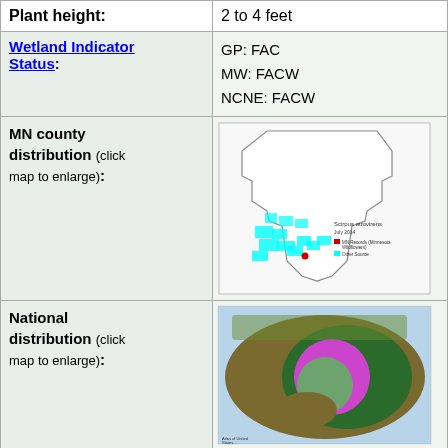| Property | Value |
| --- | --- |
| Plant height: | 2 to 4 feet |
| Wetland Indicator Status: | GP: FAC
MW: FACW
NCNE: FACW |
| MN county distribution (click map to enlarge): | [MN county distribution map image] |
| National distribution (click map to enlarge): | [National distribution map image] |
Pick an image for a larger view. See the glossary for icon descriptions.
Detailed Information
Flower: [icons]